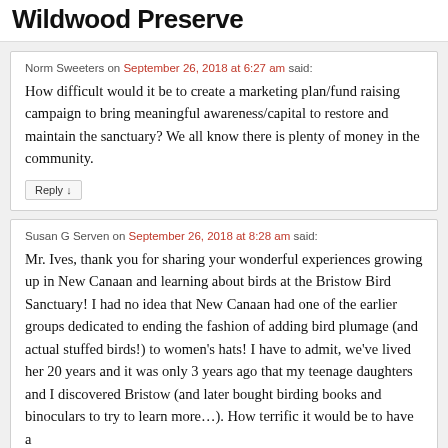Wildwood Preserve
Norm Sweeters on September 26, 2018 at 6:27 am said:
How difficult would it be to create a marketing plan/fund raising campaign to bring meaningful awareness/capital to restore and maintain the sanctuary? We all know there is plenty of money in the community.
Reply ↓
Susan G Serven on September 26, 2018 at 8:28 am said:
Mr. Ives, thank you for sharing your wonderful experiences growing up in New Canaan and learning about birds at the Bristow Bird Sanctuary! I had no idea that New Canaan had one of the earlier groups dedicated to ending the fashion of adding bird plumage (and actual stuffed birds!) to women's hats! I have to admit, we've lived her 20 years and it was only 3 years ago that my teenage daughters and I discovered Bristow (and later bought birding books and binoculars to try to learn more…). How terrific it would be to have a